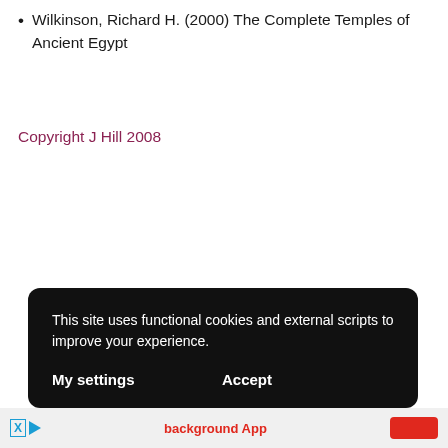Wilkinson, Richard H. (2000) The Complete Temples of Ancient Egypt
Copyright J Hill 2008
This site uses functional cookies and external scripts to improve your experience.

My settings    Accept